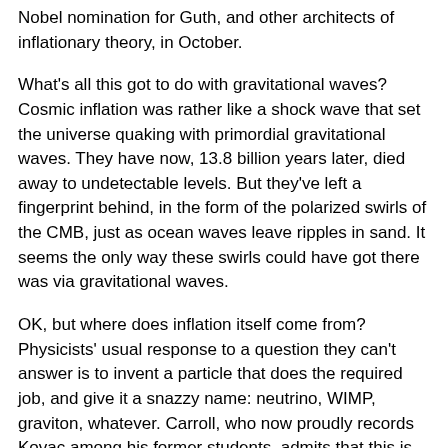Nobel nomination for Guth, and other architects of inflationary theory, in October.
What's all this got to do with gravitational waves? Cosmic inflation was rather like a shock wave that set the universe quaking with primordial gravitational waves. They have now, 13.8 billion years later, died away to undetectable levels. But they've left a fingerprint behind, in the form of the polarized swirls of the CMB, just as ocean waves leave ripples in sand. It seems the only way these swirls could have got there was via gravitational waves.
OK, but where does inflation itself come from? Physicists' usual response to a question they can't answer is to invent a particle that does the required job, and give it a snazzy name: neutrino, WIMP, graviton, whatever. Carroll, who now proudly records Kovac among his former students, admits that this is what they've done here. “We don’t know what field it is that drove inflation”, he says, “so we just call it the inflaton.”
In other words, just as the photon (a ‘particle of light’) is the